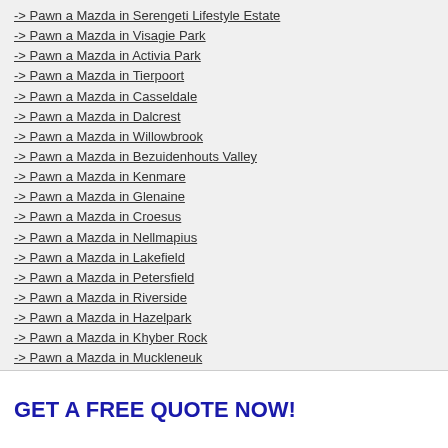-> Pawn a Mazda in Serengeti Lifestyle Estate
-> Pawn a Mazda in Visagie Park
-> Pawn a Mazda in Activia Park
-> Pawn a Mazda in Tierpoort
-> Pawn a Mazda in Casseldale
-> Pawn a Mazda in Dalcrest
-> Pawn a Mazda in Willowbrook
-> Pawn a Mazda in Bezuidenhouts Valley
-> Pawn a Mazda in Kenmare
-> Pawn a Mazda in Glenaine
-> Pawn a Mazda in Croesus
-> Pawn a Mazda in Nellmapius
-> Pawn a Mazda in Lakefield
-> Pawn a Mazda in Petersfield
-> Pawn a Mazda in Riverside
-> Pawn a Mazda in Hazelpark
-> Pawn a Mazda in Khyber Rock
-> Pawn a Mazda in Muckleneuk
-> Pawn a Mazda in The Tramshed
-> Pawn a Mazda in Witfontein
GET A FREE QUOTE NOW!